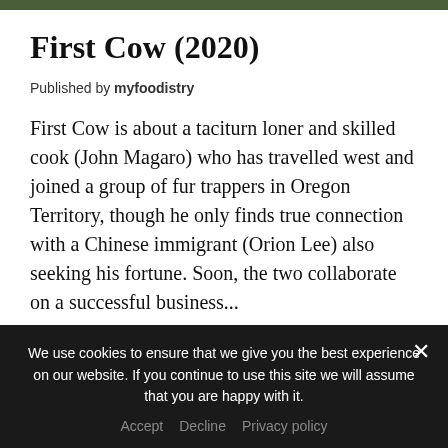First Cow (2020)
Published by myfoodistry
First Cow is about a taciturn loner and skilled cook (John Magaro) who has travelled west and joined a group of fur trappers in Oregon Territory, though he only finds true connection with a Chinese immigrant (Orion Lee) also seeking his fortune. Soon, the two collaborate on a successful business...
Share this:
We use cookies to ensure that we give you the best experience on our website. If you continue to use this site we will assume that you are happy with it.
Accept   Decline   Privacy policy